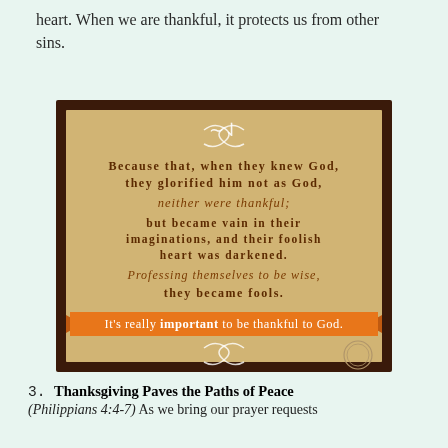heart. When we are thankful, it protects us from other sins.
[Figure (illustration): Decorative scripture quote card on parchment background with dark floral border. Contains biblical text from Romans 1 in brown lettering on tan/gold parchment, with an orange ribbon banner at the bottom reading "It's really important to be thankful to God." Decorative white scroll flourishes at top and bottom.]
3. Thanksgiving Paves the Paths of Peace (Philippians 4:4-7) As we bring our prayer requests